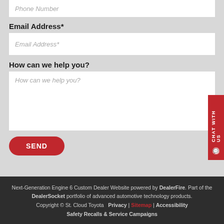Phone Number
Email Address*
Email Address*
How can we help you?
How can we help you?
SEND
Next-Generation Engine 6 Custom Dealer Website powered by DealerFire. Part of the DealerSocket portfolio of advanced automotive technology products. Copyright © St. Cloud Toyota   Privacy | Sitemap | Accessibility   Safety Recalls & Service Campaigns